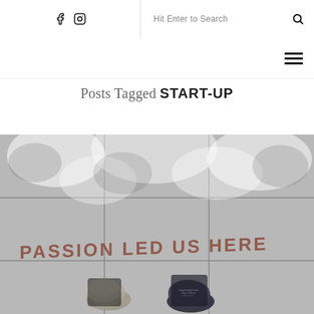f  Instagram icon  |  Hit Enter to Search  🔍
[Figure (other): Hamburger menu icon (three horizontal lines) in top right navigation bar]
Posts Tagged START-UP
[Figure (photo): Overhead photo of two people's feet standing on a concrete sidewalk with text 'PASSION LED US HERE' painted on the ground, in copper/rose-gold lettering]